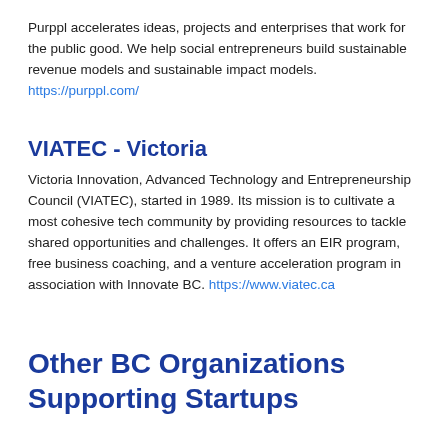Purppl accelerates ideas, projects and enterprises that work for the public good. We help social entrepreneurs build sustainable revenue models and sustainable impact models. https://purppl.com/
VIATEC - Victoria
Victoria Innovation, Advanced Technology and Entrepreneurship Council (VIATEC), started in 1989. Its mission is to cultivate a most cohesive tech community by providing resources to tackle shared opportunities and challenges. It offers an EIR program, free business coaching, and a venture acceleration program in association with Innovate BC. https://www.viatec.ca
Other BC Organizations Supporting Startups